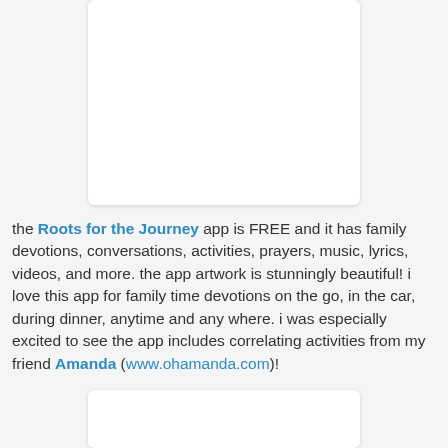[Figure (photo): White rectangular image box at the top of the page, partially cropped, appears to be a screenshot or app image]
the Roots for the Journey app is FREE and it has family devotions, conversations, activities, prayers, music, lyrics, videos, and more. the app artwork is stunningly beautiful! i love this app for family time devotions on the go, in the car, during dinner, anytime and any where. i was especially excited to see the app includes correlating activities from my friend Amanda (www.ohamanda.com)!
[Figure (photo): White rectangular image box at the bottom of the page, partially cropped]